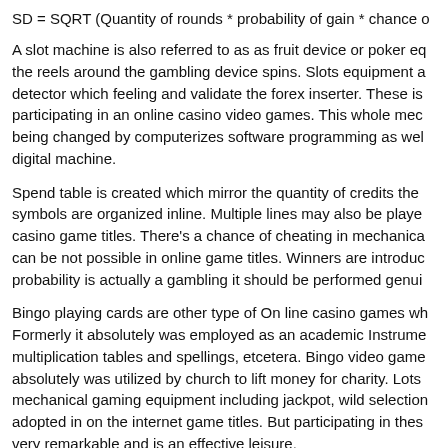SD = SQRT (Quantity of rounds * probability of gain * chance o
A slot machine is also referred to as as fruit device or poker eq the reels around the gambling device spins. Slots equipment a detector which feeling and validate the forex inserter. These is participating in an online casino video games. This whole mec being changed by computerizes software programming as wel digital machine.
Spend table is created which mirror the quantity of credits the symbols are organized inline. Multiple lines may also be playe casino game titles. There's a chance of cheating in mechanica can be not possible in online game titles. Winners are introduc probability is actually a gambling it should be performed genui
Bingo playing cards are other type of On line casino games wh Formerly it absolutely was employed as an academic Instrume multiplication tables and spellings, etcetera. Bingo video game absolutely was utilized by church to lift money for charity. Lots mechanical gaming equipment including jackpot, wild selection adopted in on the internet game titles. But participating in thes very remarkable and is an effective leisure.
Like it? Share it!